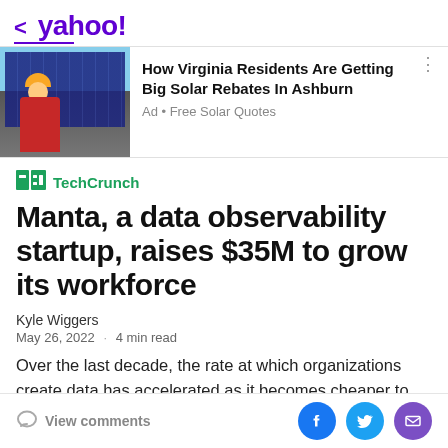< yahoo!
[Figure (photo): Ad banner with photo of solar panel worker in red shirt and yellow hard hat installing solar panels. Text: How Virginia Residents Are Getting Big Solar Rebates In Ashburn. Ad • Free Solar Quotes]
Manta, a data observability startup, raises $35M to grow its workforce
Kyle Wiggers
May 26, 2022 · 4 min read
Over the last decade, the rate at which organizations create data has accelerated as it becomes cheaper to
View comments